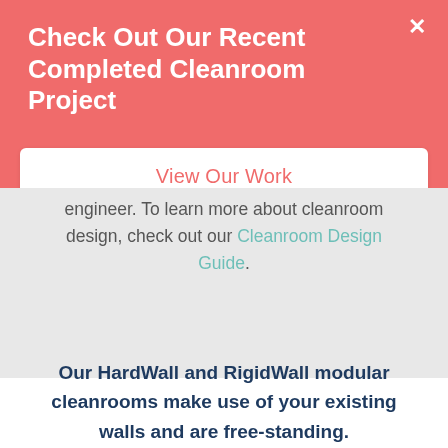Check Out Our Recent Completed Cleanroom Project
View Our Work
engineer. To learn more about cleanroom design, check out our Cleanroom Design Guide.
Our HardWall and RigidWall modular cleanrooms make use of your existing walls and are free-standing.